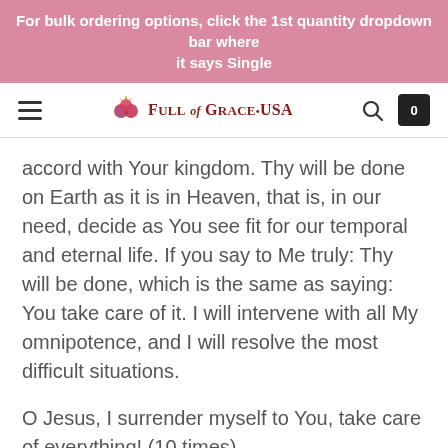For bulk ordering options, click the 1st quantity dropdown bar where it says Single
[Figure (logo): Full of Grace USA logo with roses icon and navigation bar including hamburger menu, search icon, and cart icon showing 0]
accord with Your kingdom. Thy will be done on Earth as it is in Heaven, that is, in our need, decide as You see fit for our temporal and eternal life. If you say to Me truly: Thy will be done, which is the same as saying: You take care of it. I will intervene with all My omnipotence, and I will resolve the most difficult situations.
O Jesus, I surrender myself to You, take care of everything! (10 times)